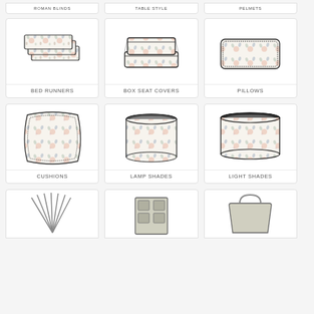[Figure (illustration): Partial top of card - Roman Blinds product category]
[Figure (illustration): Partial top of card - Table Style product category]
[Figure (illustration): Partial top of card - Pelmet product category]
[Figure (illustration): Bed runners product - folded fabric with floral pattern]
BED RUNNERS
[Figure (illustration): Box seat covers product - stacked trays with floral pattern]
BOX SEAT COVERS
[Figure (illustration): Pillows product - rectangular pillow with floral pattern]
PILLOWS
[Figure (illustration): Cushions product - square cushion with floral pattern]
CUSHIONS
[Figure (illustration): Lamp shades product - cylindrical lamp shade with floral pattern]
LAMP SHADES
[Figure (illustration): Light shades product - drum light shade with floral pattern]
LIGHT SHADES
[Figure (illustration): Partial bottom card - fan/tassel product]
[Figure (illustration): Partial bottom card - organizer/pocket product]
[Figure (illustration): Partial bottom card - bag/tote product]